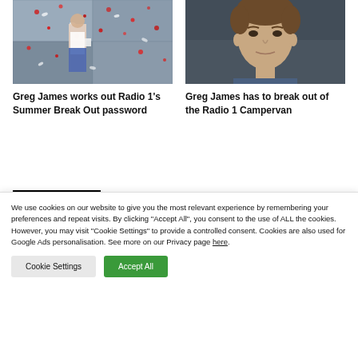[Figure (photo): Person standing outside a vehicle covered with red and white confetti/petals]
[Figure (photo): Young man with brown hair looking to the side, slightly blurred background]
Greg James works out Radio 1's Summer Break Out password
Greg James has to break out of the Radio 1 Campervan
[Figure (logo): BBC logo — white BBC letters in white squares on black background]
[Figure (logo): Capital FM 95-106 logo in blue and red on white background]
We use cookies on our website to give you the most relevant experience by remembering your preferences and repeat visits. By clicking "Accept All", you consent to the use of ALL the cookies. However, you may visit "Cookie Settings" to provide a controlled consent. Cookies are also used for Google Ads personalisation. See more on our Privacy page here.
Cookie Settings
Accept All